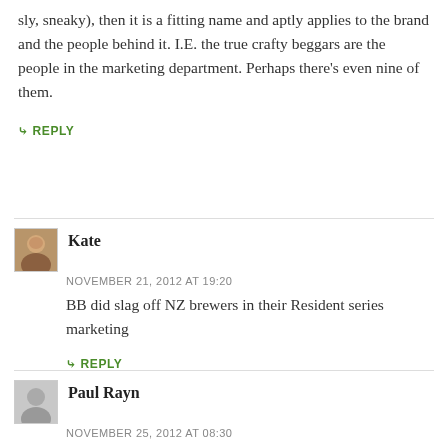sly, sneaky), then it is a fitting name and aptly applies to the brand and the people behind it. I.E. the true crafty beggars are the people in the marketing department. Perhaps there's even nine of them.
↳ REPLY
Kate
NOVEMBER 21, 2012 AT 19:20
BB did slag off NZ brewers in their Resident series marketing
↳ REPLY
Paul Rayn
NOVEMBER 25, 2012 AT 08:30
Think this sums it up nicely, it is, more or less, tosser's